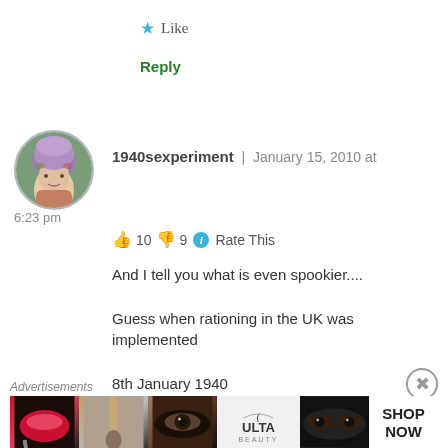★ Like
Reply
[Figure (photo): Round avatar photo of a woman with colorful hair]
1940sexperiment | January 15, 2010 at 6:23 pm
👍 10 👎 9 ℹ Rate This
And I tell you what is even spookier....
Guess when rationing in the UK was implemented
8th January 1940
Do-do-do-do hehehe
Advertisements
[Figure (photo): Ulta Beauty advertisement banner showing makeup and beauty products]